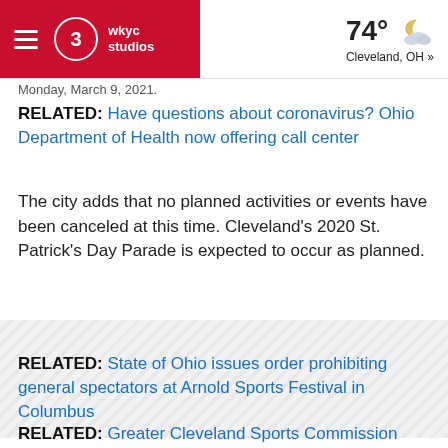WKYC Studios — 74° Cleveland, OH »
Monday, March 9, 2021.
RELATED: Have questions about coronavirus? Ohio Department of Health now offering call center
The city adds that no planned activities or events have been canceled at this time. Cleveland's 2020 St. Patrick's Day Parade is expected to occur as planned.
[Figure (other): Advertisement placeholder with diagonal stripe pattern]
RELATED: State of Ohio issues order prohibiting general spectators at Arnold Sports Festival in Columbus
RELATED: Greater Cleveland Sports Commission